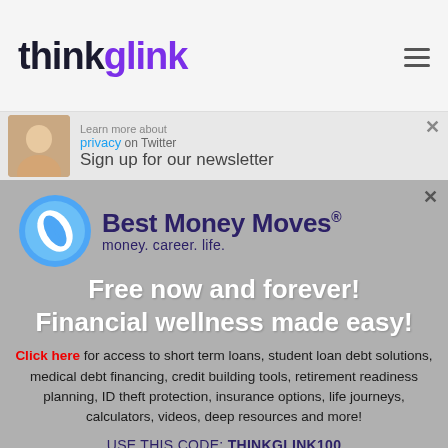thinkglink
[Figure (screenshot): Twitter cookie/privacy banner strip with partial profile photo and 'Sign up for our newsletter' text]
[Figure (logo): Best Money Moves logo — circular blue leaf icon with 'Best Money Moves® money. career. life.' text in dark navy]
Free now and forever!
Financial wellness made easy!
Click here for access to short term loans, student loan debt solutions, medical debt financing, credit building tools, retirement readiness planning, ID theft protection, insurance options, life journeys, calculators, videos, deep resources and more!
USE THIS CODE: THINKGLINK100